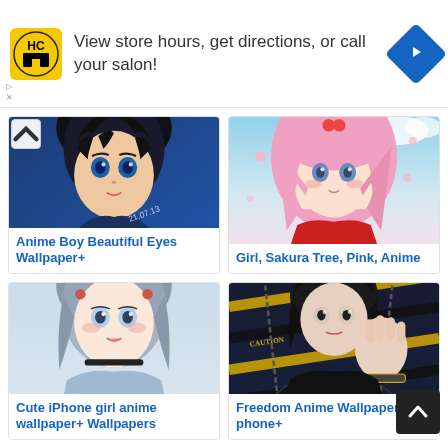[Figure (infographic): Advertisement banner: HairCuttery logo, text 'View store hours, get directions, or call your salon!', blue navigation icon]
View store hours, get directions, or call your salon!
[Figure (illustration): Anime boy with beautiful blue eyes and dark hair]
Anime Boy Beautiful Eyes Wallpaper+
[Figure (illustration): Anime girl with pink hair near sakura tree]
Girl, Sakura Tree, Pink, Anime
[Figure (illustration): Cute anime girl with grey hair wearing blue shirt with white heart]
Cute iPhone girl anime wallpaper+ Wallpapers
[Figure (illustration): Freedom anime character with caution tape and chains]
Freedom Anime Wallpaper for phone+